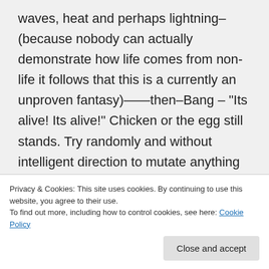waves, heat and perhaps lightning–(because nobody can actually demonstrate how life comes from non-life it follows that this is a currently an unproven fantasy)——then–Bang – "Its alive! Its alive!" Chicken or the egg still stands. Try randomly and without intelligent direction to mutate anything into something more advanced. Throw some peanut butter and various
Privacy & Cookies: This site uses cookies. By continuing to use this website, you agree to their use. To find out more, including how to control cookies, see here: Cookie Policy
with new and exotic life forms